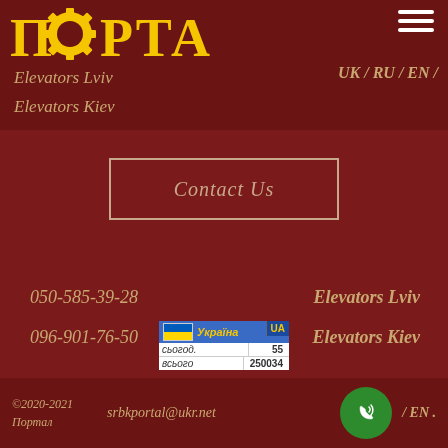[Figure (logo): ПОРТАЛ logo in yellow with gear icon on dark red background]
Elevators Lviv
Elevators Kiev
UK / RU / EN /
Contact Us
050-585-39-28
096-901-76-50
Elevators Lviv
Elevators Kiev
©2020-2021 Портал    srbkportal@ukr.net    /EN.
[Figure (screenshot): Ukraine UA counter badge showing сьогод. 55, всього 250034]